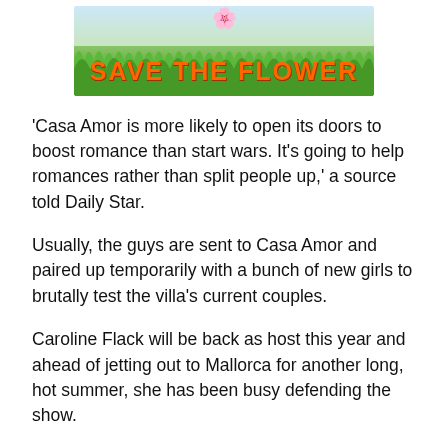[Figure (illustration): Banner image with grass background and orange bold text reading 'SAVE THE FLOWER' with a small flower/trophy icon above]
‘Casa Amor is more likely to open its doors to boost romance than start wars. It’s going to help romances rather than split people up,’ a source told Daily Star.
Usually, the guys are sent to Casa Amor and paired up temporarily with a bunch of new girls to brutally test the villa’s current couples.
Caroline Flack will be back as host this year and ahead of jetting out to Mallorca for another long, hot summer, she has been busy defending the show.
Love Island came under fire and its after-care for